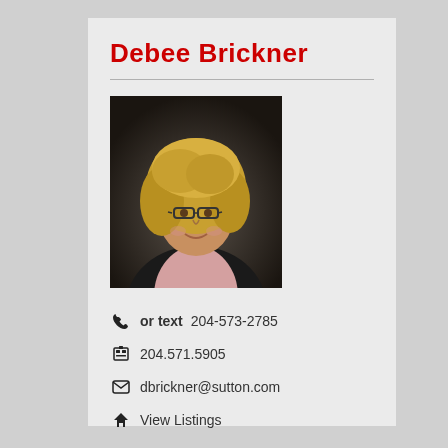Debee Brickner
[Figure (photo): Professional headshot of Debee Brickner, a woman with blonde hair and glasses, wearing a dark jacket over a pink top, smiling at the camera against a dark background.]
or text  204-573-2785
204.571.5905
dbrickner@sutton.com
View Listings
View Agents Page